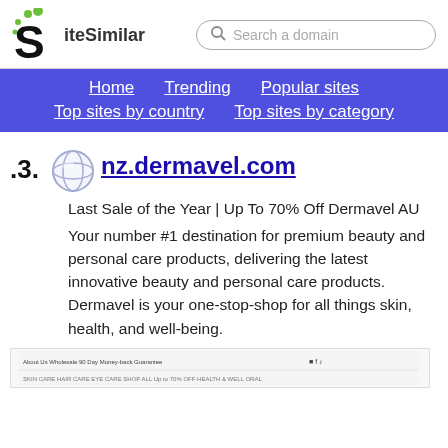SiteSimilar — Search a domain
Home | Trending | Popular sites | Top sites by country | Top sites by category
3. nz.dermavel.com — Last Sale of the Year | Up To 70% Off Dermavel AU — Your number #1 destination for premium beauty and personal care products, delivering the latest innovative beauty and personal care products. Dermavel is your one-stop-shop for all things skin, health, and well-being.
[Figure (screenshot): Small preview screenshot of nz.dermavel.com website footer/header strip]